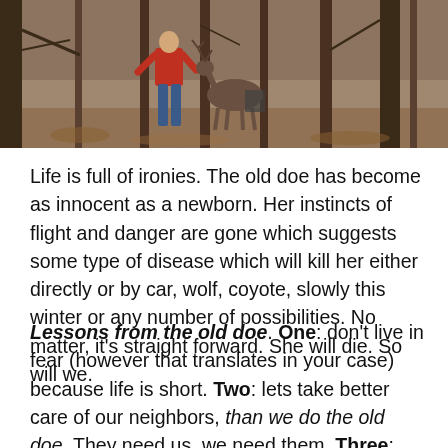[Figure (photo): Outdoor woodland scene showing a person in a red shirt and jeans walking among bare trees, with a deer visible in the background. Leaf-covered forest floor.]
Life is full of ironies. The old doe has become as innocent as a newborn. Her instincts of flight and danger are gone which suggests some type of disease which will kill her either directly or by car, wolf, coyote, slowly this winter or any number of possibilities. No matter, it’s straight forward. She will die. So will we.
Lessons from the old doe. One: don’t live in fear (however that translates in your case) because life is short. Two: lets take better care of our neighbors, than we do the old doe. They need us, we need them. Three: don’t worry about what the rest of the herd thinks. Shut off the news feed. Do what we were created to do. Figure out